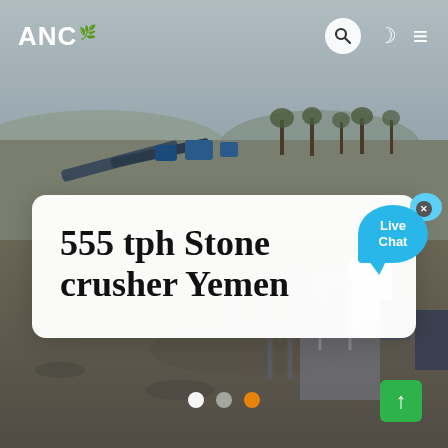[Figure (photo): Aerial view of a stone crushing plant / quarry operation with conveyor belts, industrial equipment, and structures in a dusty landscape with trees in background]
ANC
555 tph Stone crusher Yemen